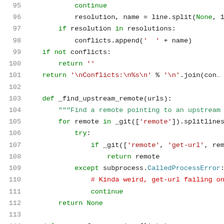[Figure (screenshot): Python source code snippet showing lines 95-116, with syntax highlighting. Line numbers in gray on the left, keywords in green, strings in dark red, docstrings in green, comments in red, class names in teal.]